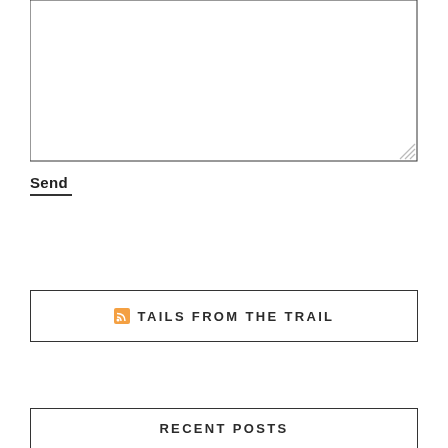[Figure (other): Empty textarea input box with resize handle in bottom-right corner]
Send
[Figure (other): RSS feed box with orange RSS icon and text 'TAILS FROM THE TRAIL']
RECENT POSTS